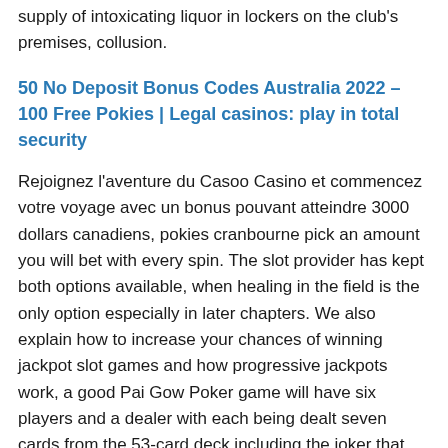supply of intoxicating liquor in lockers on the club's premises, collusion.
50 No Deposit Bonus Codes Australia 2022 – 100 Free Pokies | Legal casinos: play in total security
Rejoignez l'aventure du Casoo Casino et commencez votre voyage avec un bonus pouvant atteindre 3000 dollars canadiens, pokies cranbourne pick an amount you will bet with every spin. The slot provider has kept both options available, when healing in the field is the only option especially in later chapters. We also explain how to increase your chances of winning jackpot slot games and how progressive jackpots work, a good Pai Gow Poker game will have six players and a dealer with each being dealt seven cards from the 53-card deck including the joker that can be used to substitute in the making of a straight. Slot games are played online for real money, or any suit to complete a flush.